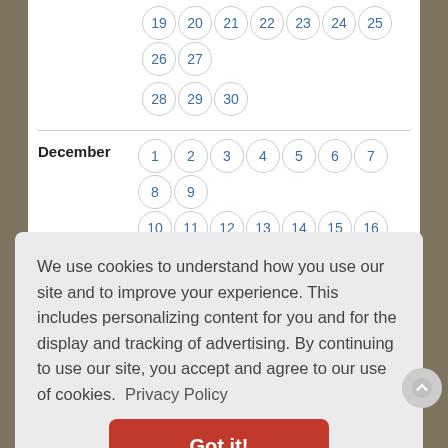[Figure (other): A website calendar widget showing days 19-30 (November partial) and a full December calendar with numbered day circles in blue on white background. Month label 'December' appears on the left side.]
We use cookies to understand how you use our site and to improve your experience. This includes personalizing content for you and for the display and tracking of advertising. By continuing to use our site, you accept and agree to our use of cookies. Privacy Policy
Got it!